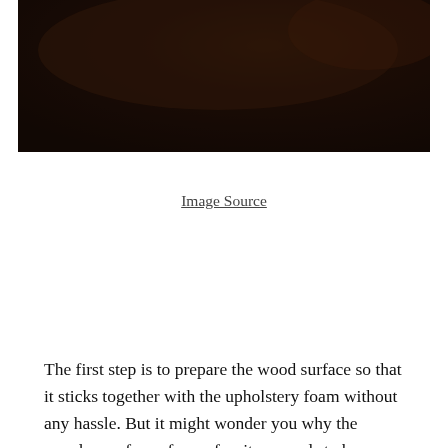[Figure (photo): Dark brown/black background photo, appears to be a dark wooden or dimly lit scene, partially visible at top of page]
Image Source
The first step is to prepare the wood surface so that it sticks together with the upholstery foam without any hassle. But it might wonder you why the wooden surface of your furniture needs to be prepared. As you might not know, the surface of the furniture is pretty smooth while upholstery foam is quite porous. So, it may cause an issue to binding the two together if the wood is not rough enough. Sanding will simply create considerable space on the wooden surface for the cement to penetrate.
[Figure (screenshot): Video player error overlay showing 'No compatible source was found for this media.' with an X close button, and below it a partial screenshot of an advertisement showing text about backyard or outdoor area and gazebo]